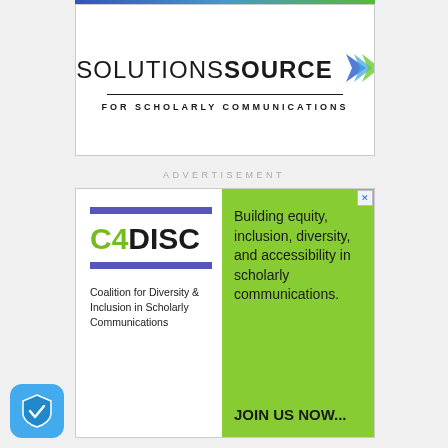[Figure (logo): Solutions Source for Scholarly Communications logo with colored chevron graphic]
ADVERTISEMENT
[Figure (infographic): C4DISC advertisement. Left panel: C4DISC logo with blue bars and text 'Coalition for Diversity & Inclusion in Scholarly Communications'. Right panel (green background): 'Building equity, inclusion, diversity, and accessibility in scholarly communications. JOIN US NOW...']
[Figure (logo): Blue shield icon with checkmark in bottom left corner]